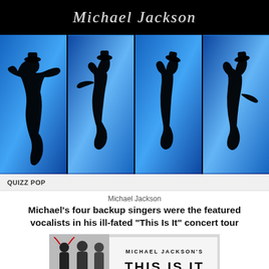[Figure (photo): Michael Jackson logo text in white italic script on black background, above four silhouette panels of Michael Jackson dancing against blue-lit backgrounds]
QUIZZ POP
Michael Jackson
Michael's four backup singers were the featured vocalists in his ill-fated "This Is It" concert tour
[Figure (photo): Photo of performers in front of Michael Jackson's This Is It promotional backdrop showing the movie/concert title]